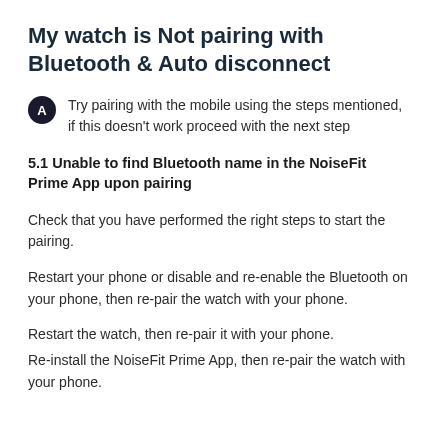My watch is Not pairing with Bluetooth & Auto disconnect
Try pairing with the mobile using the steps mentioned, if this doesn't work proceed with the next step
5.1 Unable to find Bluetooth name in the NoiseFit Prime App upon pairing
Check that you have performed the right steps to start the pairing.
Restart your phone or disable and re-enable the Bluetooth on your phone, then re-pair the watch with your phone.
Restart the watch, then re-pair it with your phone.
Re-install the NoiseFit Prime App, then re-pair the watch with your phone.